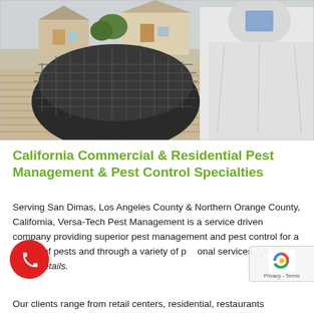[Figure (photo): Outdoor photo showing a pest control worker in white protective suit working near a dark dome-shaped object (possibly a chimney cap or vent cover) on a rooftop, with suburban houses and trees visible in the background.]
California Commercial & Residential Pest Management & Pest Control Specialties
Serving San Dimas, Los Angeles County & Northern Orange County, California, Versa-Tech Pest Management is a service driven company providing superior pest management and pest control for a variety of pests and through a variety of professional services. Quality is in the details.
Our clients range from retail centers, residential, restaurants